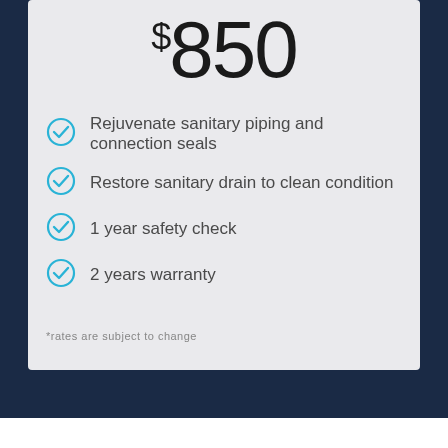$850
Rejuvenate sanitary piping and connection seals
Restore sanitary drain to clean condition
1 year safety check
2 years warranty
*rates are subject to change